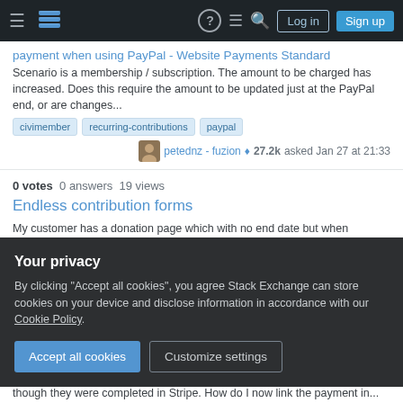Stack Exchange navigation bar with Log in and Sign up buttons
payment when using PayPal - Website Payments Standard
Scenario is a membership / subscription. The amount to be charged has increased. Does this require the amount to be updated just at the PayPal end, or are changes...
civimember
recurring-contributions
paypal
petednz - fuzion ♦ 27.2k asked Jan 27 at 21:33
0 votes  0 answers  19 views
Endless contribution forms
My customer has a donation page which with no end date but when registering a donation, it's telling him maximum 12 months. he would like to create a donation...
contributions
recurring-contributions
Your privacy
By clicking "Accept all cookies", you agree Stack Exchange can store cookies on your device and disclose information in accordance with our Cookie Policy.
Accept all cookies
Customize settings
though they were completed in Stripe. How do I now link the payment in...